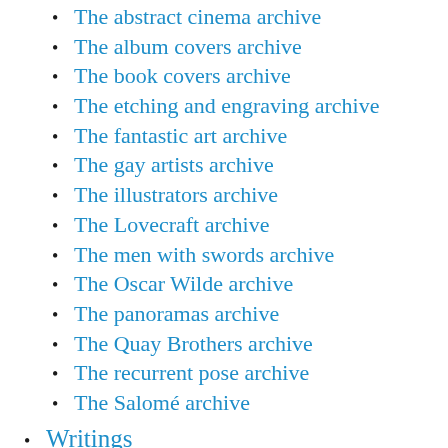The abstract cinema archive
The album covers archive
The book covers archive
The etching and engraving archive
The fantastic art archive
The gay artists archive
The illustrators archive
The Lovecraft archive
The men with swords archive
The Oscar Wilde archive
The panoramas archive
The Quay Brothers archive
The recurrent pose archive
The Salomé archive
Writings